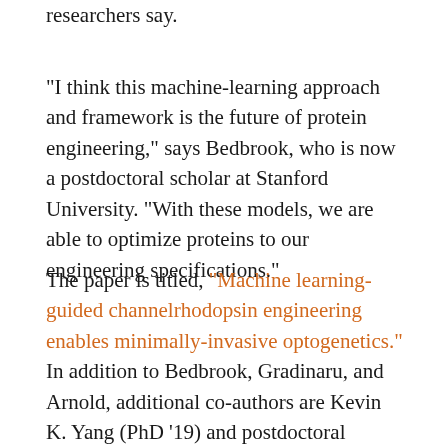researchers say.
"I think this machine-learning approach and framework is the future of protein engineering," says Bedbrook, who is now a postdoctoral scholar at Stanford University. "With these models, we are able to optimize proteins to our engineering specifications."
The paper is titled, "Machine learning-guided channelrhodopsin engineering enables minimally-invasive optogenetics." In addition to Bedbrook, Gradinaru, and Arnold, additional co-authors are Kevin K. Yang (PhD '19) and postdoctoral scholar J. Elliott Robinson (who are both co-second authors), and staff researcher/Gradinaru lab manager Elisha D. Mackey. Funding was provided by an Institute for Collaborative Biotechnologies grant from the U.S. Army Research Office; the National Institutes of Health through an NIH BRAIN grant, an NIH Director's Pioneer Award, an NIH